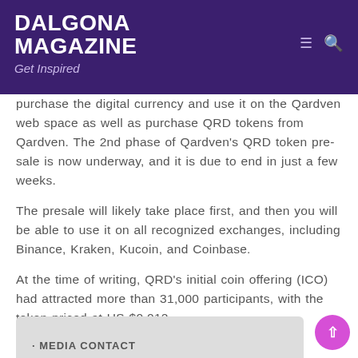DALGONA MAGAZINE
Get Inspired
purchase the digital currency and use it on the Qardven web space as well as purchase QRD tokens from Qardven. The 2nd phase of Qardven's QRD token pre-sale is now underway, and it is due to end in just a few weeks.
The presale will likely take place first, and then you will be able to use it on all recognized exchanges, including Binance, Kraken, Kucoin, and Coinbase.
At the time of writing, QRD's initial coin offering (ICO) had attracted more than 31,000 participants, with the token priced at US $0.012.
Official Website: https://qardven.com/
MEDIA CONTACT